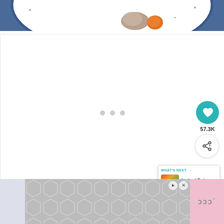[Figure (photo): Top portion of a food photo showing a white plate with blue rim on a blue background, with meat and orange vegetable visible]
[Figure (screenshot): White content area with three gray loading dots in the center, with a teal heart button showing 57.3K likes and a share button on the right side]
57.3K
[Figure (screenshot): What's Next panel showing Instant Pot Chicken Tac... with food thumbnail]
WHAT'S NEXT → Instant Pot Chicken Tac...
[Figure (screenshot): Advertisement bar at the bottom with hexagonal pattern and pink section with Mw logo]